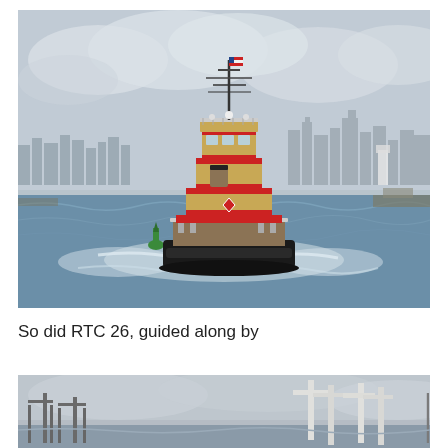[Figure (photo): A tugboat with red and gold/tan coloring on water in a harbor, with a city skyline visible in the background and choppy water with white wake around the vessel. A green buoy is visible to the left of the boat.]
So did RTC 26, guided along by
[Figure (photo): Partial view of what appears to be a waterfront or dock scene with cranes or structural elements visible against an overcast sky.]